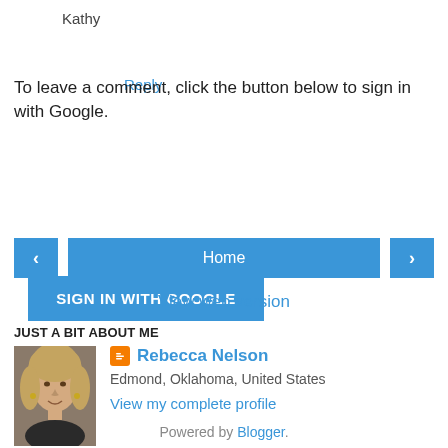Kathy
Reply
To leave a comment, click the button below to sign in with Google.
SIGN IN WITH GOOGLE
[Figure (infographic): Navigation bar with left arrow button, Home center button, and right arrow button]
View web version
JUST A BIT ABOUT ME
[Figure (photo): Profile photo of Rebecca Nelson, a woman with blonde hair]
Rebecca Nelson
Edmond, Oklahoma, United States
View my complete profile
Powered by Blogger.